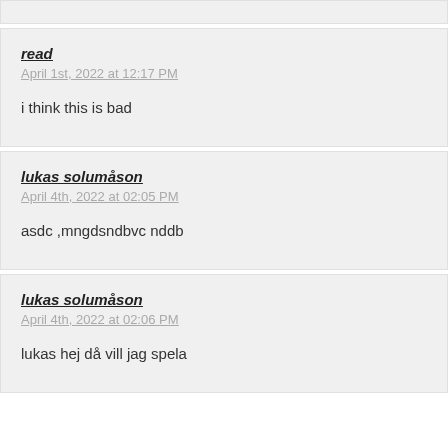read
April 1st, 2022 at 12:17 PM
i think this is bad
lukas solumåson
April 4th, 2022 at 02:05 PM
asdc ,mngdsndbvc nddb
lukas solumåson
April 4th, 2022 at 02:06 PM
lukas hej då vill jag spela